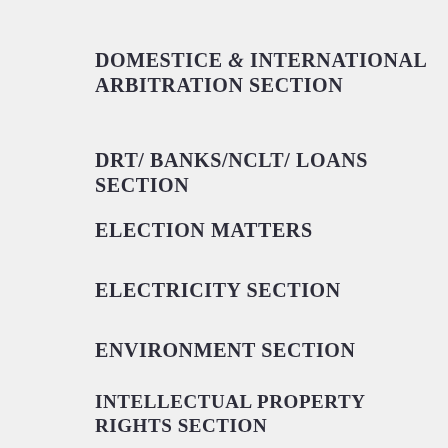DOMESTICE & INTERNATIONAL ARBITRATION SECTION
DRT/ BANKS/NCLT/ LOANS SECTION
ELECTION MATTERS
ELECTRICITY SECTION
ENVIRONMENT SECTION
INTELLECTUAL PROPERTY RIGHTS SECTION
EDUCATION SECTION